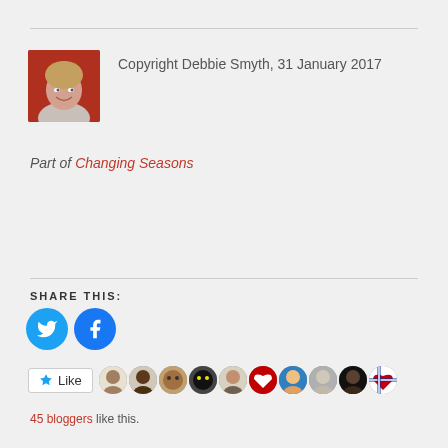Copyright Debbie Smyth, 31 January 2017
[Figure (photo): Portrait photo of Debbie Smyth, a woman with styled hair smiling, reddish background]
Part of Changing Seasons
SHARE THIS:
[Figure (infographic): Twitter and Facebook share icon buttons (circular blue icons)]
Like button and 45 blogger avatars
45 bloggers like this.